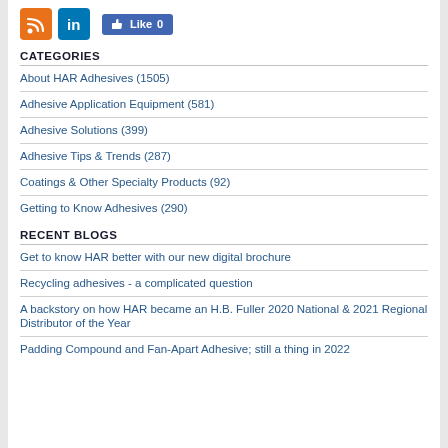[Figure (other): RSS icon (orange), LinkedIn icon (blue), and Facebook Like button (0 likes)]
CATEGORIES
About HAR Adhesives (1505)
Adhesive Application Equipment (581)
Adhesive Solutions (399)
Adhesive Tips & Trends (287)
Coatings & Other Specialty Products (92)
Getting to Know Adhesives (290)
RECENT BLOGS
Get to know HAR better with our new digital brochure
Recycling adhesives - a complicated question
A backstory on how HAR became an H.B. Fuller 2020 National & 2021 Regional Distributor of the Year
Padding Compound and Fan-Apart Adhesive; still a thing in 2022